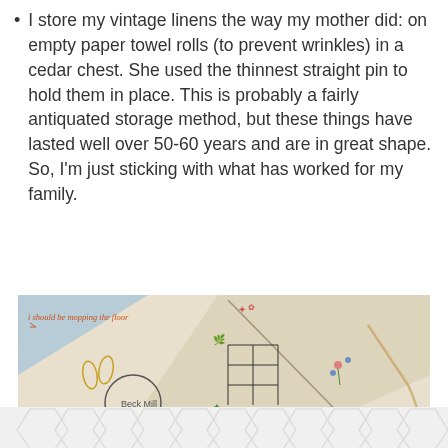I store my vintage linens the way my mother did: on empty paper towel rolls (to prevent wrinkles) in a cedar chest. She used the thinnest straight pin to hold them in place. This is probably a fairly antiquated storage method, but these things have lasted well over 50-60 years and are in great shape. So, I'm just sticking with what has worked for my family.
[Figure (photo): Photo of vintage embroidered linens laid out, cream/white fabric with embroidered designs including a bunny, floral motifs, and decorative stitching. A watermark 'i should be mopping the floor' appears in orange cursive text in the upper left.]